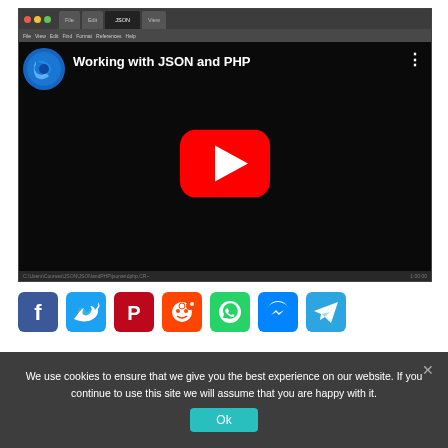[Figure (screenshot): YouTube video player screenshot showing 'Working with JSON and PHP' with a red play button on black background, channel icon top left, three-dot menu top right, browser chrome visible at top]
[Figure (infographic): Row of 7 social media share icons: Facebook (blue), Twitter (blue), Pinterest (red), Reddit (orange-red), WhatsApp (green), Facebook Messenger (blue), Telegram (blue)]
We use cookies to ensure that we give you the best experience on our website. If you continue to use this site we will assume that you are happy with it.